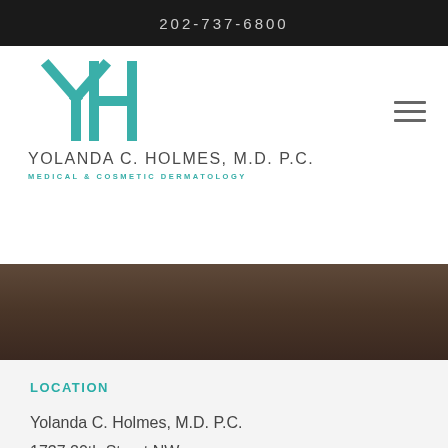202-737-6800
YOLANDA C. HOLMES, M.D. P.C.
MEDICAL & COSMETIC DERMATOLOGY
[Figure (photo): Background photo of hands on a surface, partially obscured by scalloped white border]
LOCATION
Yolanda C. Holmes, M.D. P.C.
1737 20th Street NW
Washington, DC 20009
Phone: 202-737-6800